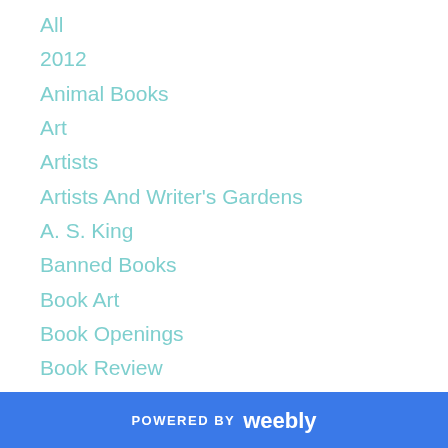All
2012
Animal Books
Art
Artists
Artists And Writer's Gardens
A. S. King
Banned Books
Book Art
Book Openings
Book Review
Book Reviews
Books
Caroline Leavitt
Changes
Childhood Friendship
Children
POWERED BY weebly